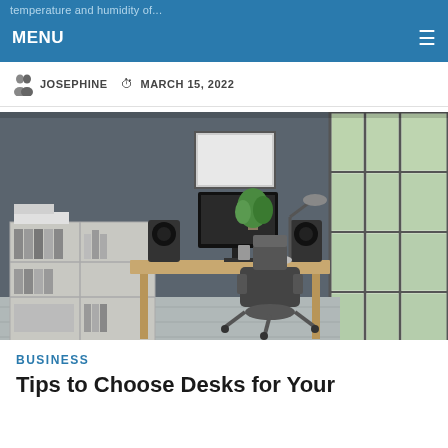temperature and humidity of...
MENU
JOSEPHINE  MARCH 15, 2022
[Figure (photo): Modern home office with wooden desk, black ergonomic chair, computer monitor, bookshelf with binders, speakers, and large windows with natural light against a dark gray wall.]
BUSINESS
Tips to Choose Desks for Your